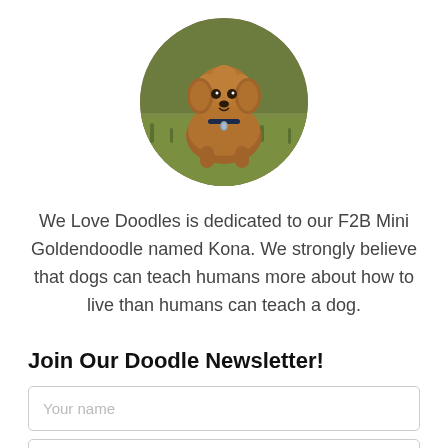[Figure (photo): Circular cropped photo of a fluffy brown/golden Goldendoodle puppy sitting on green grass, wearing a dark collar with a tag.]
We Love Doodles is dedicated to our F2B Mini Goldendoodle named Kona. We strongly believe that dogs can teach humans more about how to live than humans can teach a dog.
Join Our Doodle Newsletter!
Your name